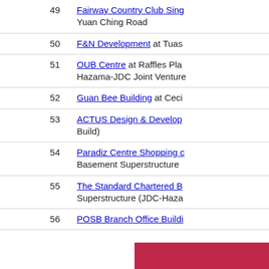49 Fairway Country Club Singapore, Yuan Ching Road
50 F&N Development at Tuas
51 OUB Centre at Raffles Place, Hazama-JDC Joint Venture
52 Guan Bee Building at Cecil
53 ACTUS Design & Development (Design & Build)
54 Paradiz Centre Shopping, Basement Superstructure
55 The Standard Chartered Bank, Superstructure (JDC-Haza...)
56 POSB Branch Office Building